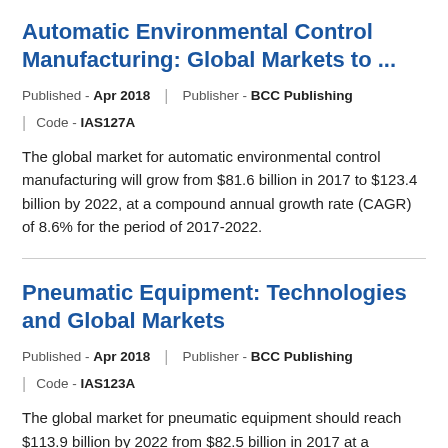Automatic Environmental Control Manufacturing: Global Markets to ...
Published - Apr 2018  |  Publisher - BCC Publishing  |  Code - IAS127A
The global market for automatic environmental control manufacturing will grow from $81.6 billion in 2017 to $123.4 billion by 2022, at a compound annual growth rate (CAGR) of 8.6% for the period of 2017-2022.
Pneumatic Equipment: Technologies and Global Markets
Published - Apr 2018  |  Publisher - BCC Publishing  |  Code - IAS123A
The global market for pneumatic equipment should reach $113.9 billion by 2022 from $82.5 billion in 2017 at a compound annual growth rate (CAGR) of 6.7%, from 2017